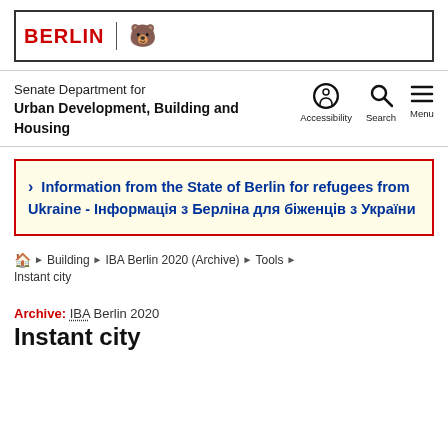[Figure (logo): Berlin state logo: 'BERLIN' text in red with Berlin bear icon in a bordered box]
Senate Department for Urban Development, Building and Housing
Information from the State of Berlin for refugees from Ukraine - Інформація з Берліна для біженців з України
Building › IBA Berlin 2020 (Archive) › Tools › Instant city
Archive: IBA Berlin 2020
Instant city